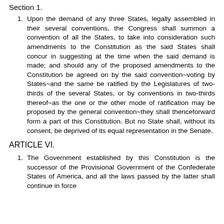Section 1.
1. Upon the demand of any three States, legally assembled in their several conventions, the Congress shall summon a convention of all the States, to take into consideration such amendments to the Constitution as the said States shall concur in suggesting at the time when the said demand is made; and should any of the proposed amendments to the Constitution be agreed on by the said convention~voting by States~and the same be ratified by the Legislatures of two- thirds of the several States, or by conventions in two-thirds thereof~as the one or the other mode of ratification may be proposed by the general convention~they shall thenceforward form a part of this Constitution. But no State shall, without its consent, be deprived of its equal representation in the Senate.
ARTICLE VI.
1. The Government established by this Constitution is the successor of the Provisional Government of the Confederate States of America, and all the laws passed by the latter shall continue in force